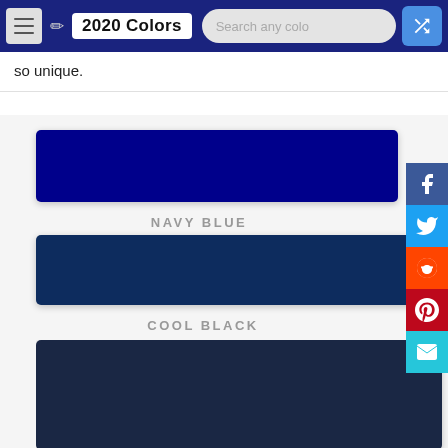2020 Colors
so unique.
[Figure (other): Navy Blue color swatch - a deep dark blue rectangle]
NAVY BLUE
[Figure (other): Cool Black color swatch - a dark navy blue rectangle]
COOL BLACK
[Figure (other): Third color swatch - a very dark navy/midnight blue rectangle, partially visible]